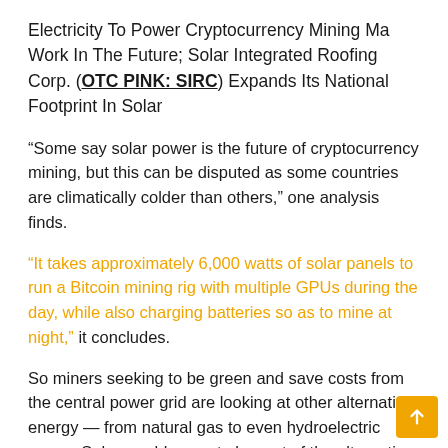Electricity To Power Cryptocurrency Mining Ma Work In The Future; Solar Integrated Roofing Corp. (OTC PINK: SIRC) Expands Its National Footprint In Solar
“Some say solar power is the future of cryptocurrency mining, but this can be disputed as some countries are climatically colder than others,” one analysis finds.
“It takes approximately 6,000 watts of solar panels to run a Bitcoin mining rig with multiple GPUs during the day, while also charging batteries so as to mine at night,” it concludes.
So miners seeking to be green and save costs from the central power grid are looking at other alternative energy — from natural gas to even hydroelectric power. Solar would seem to be part of the alternative energy mix powering future bitcoin mining facilities. Only the future will tell. Solar’s New Revenue Stream Offering Alternative Clean